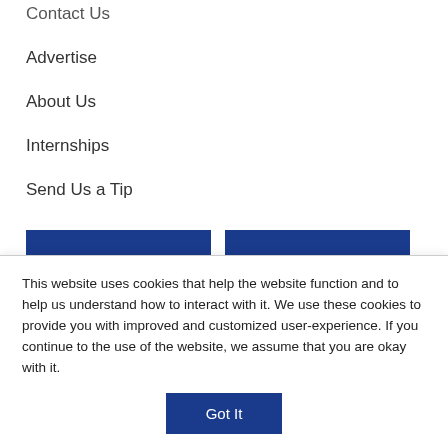Contact Us
Advertise
About Us
Internships
Send Us a Tip
[Figure (other): Blue button labeled 'watch']
[Figure (other): Blue button labeled 'programs']
All Video
Programs A-Z
Kids Video
Playlist
Live Stream
This website uses cookies that help the website function and to help us understand how to interact with it. We use these cookies to provide you with improved and customized user-experience. If you continue to the use of the website, we assume that you are okay with it.
Got It